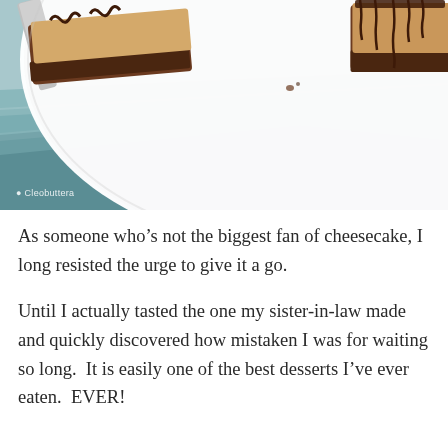[Figure (photo): Close-up food photo of cheesecake bars with chocolate drizzle on a white plate, placed on a teal/blue linen napkin. A watermark reading 'Cleobuttera' is visible in the lower left of the image.]
As someone who's not the biggest fan of cheesecake, I long resisted the urge to give it a go.
Until I actually tasted the one my sister-in-law made and quickly discovered how mistaken I was for waiting so long.  It is easily one of the best desserts I've ever eaten.  EVER!